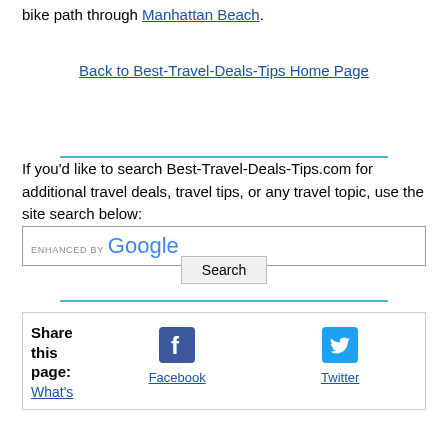bike path through Manhattan Beach.
Back to Best-Travel-Deals-Tips Home Page
If you'd like to search Best-Travel-Deals-Tips.com for additional travel deals, travel tips, or any travel topic, use the site search below:
[Figure (other): Google custom search box with 'ENHANCED BY Google' label and a Search button]
Share this page: What's
[Figure (other): Facebook and Twitter social share icons with labels]